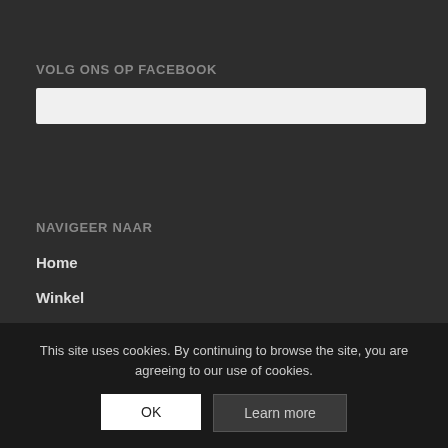VOLG ONS OP FACEBOOK
[Figure (other): White Facebook plugin embed bar placeholder]
NAVIGEER NAAR
Home
Winkel
FAQs
Contact
Vacatures
Rozema Events
This site uses cookies. By continuing to browse the site, you are agreeing to our use of cookies.
OK
Learn more